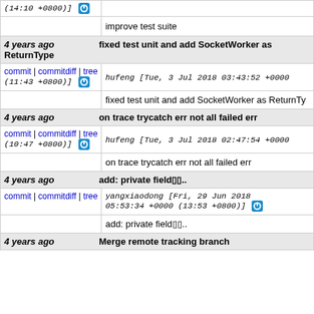(14:10 +0800)]
improve test suite
4 years ago   fixed test unit and add SocketWorker as ReturnType
commit | commitdiff | tree   hufeng [Tue, 3 Jul 2018 03:43:52 +0000 (11:43 +0800)]
fixed test unit and add SocketWorker as ReturnTy
4 years ago   on trace trycatch err not all failed err
commit | commitdiff | tree   hufeng [Tue, 3 Jul 2018 02:47:54 +0000 (10:47 +0800)]
on trace trycatch err not all failed err
4 years ago   add: private fieldï¿½ï¿½..
commit | commitdiff | tree   yangxiaodong [Fri, 29 Jun 2018 05:53:34 +0000 (13:53 +0800)]
add: private fieldï¿½ï¿½..
4 years ago   Merge remote tracking branch